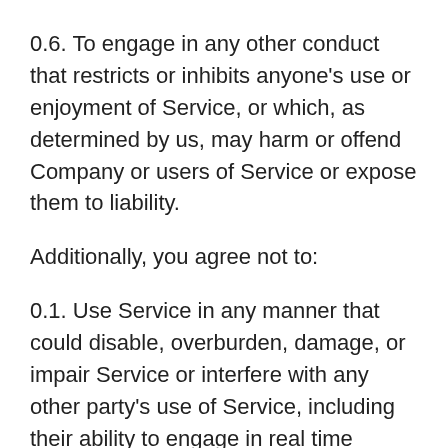0.6. To engage in any other conduct that restricts or inhibits anyone's use or enjoyment of Service, or which, as determined by us, may harm or offend Company or users of Service or expose them to liability.
Additionally, you agree not to:
0.1. Use Service in any manner that could disable, overburden, damage, or impair Service or interfere with any other party's use of Service, including their ability to engage in real time activities through Service.
0.2. Use any robot, spider, or other automatic